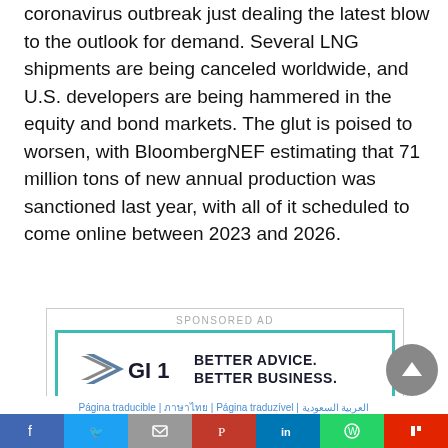coronavirus outbreak just dealing the latest blow to the outlook for demand. Several LNG shipments are being canceled worldwide, and U.S. developers are being hammered in the equity and bond markets. The glut is poised to worsen, with BloombergNEF estimating that 71 million tons of new annual production was sanctioned last year, with all of it scheduled to come online between 2023 and 2026.
[Figure (other): Sponsored advertisement banner for FGI 1 with teal border. Text reads: BETTER ADVICE. BETTER BUSINESS.]
Página traducible | ภาษาไทย | Página traduzível | العربية السعودية
[Figure (other): Social media share bar with icons for Facebook, Twitter, Email, Pinterest, LinkedIn, WhatsApp, and Flipboard]